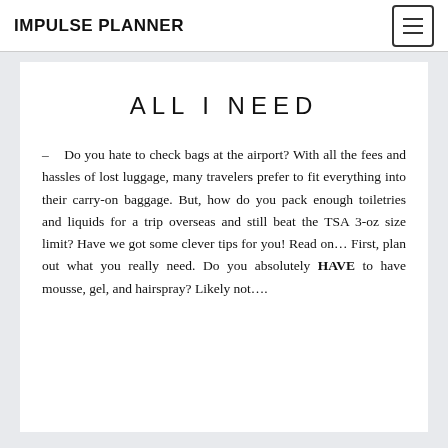IMPULSE PLANNER
ALL I NEED
–   Do you hate to check bags at the airport? With all the fees and hassles of lost luggage, many travelers prefer to fit everything into their carry-on baggage. But, how do you pack enough toiletries and liquids for a trip overseas and still beat the TSA 3-oz size limit? Have we got some clever tips for you! Read on… First, plan out what you really need. Do you absolutely HAVE to have mousse, gel, and hairspray? Likely not….